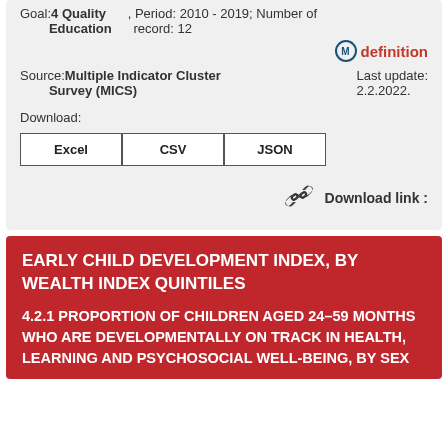Goal:4 Quality Education , Period: 2010 - 2019; Number of record: 12
M definition
Source: Multiple Indicator Cluster Survey (MICS)    Last update: 2.2.2022.
Download:
Excel  CSV  JSON
Download link :
EARLY CHILD DEVELOPMENT INDEX, BY WEALTH INDEX QUINTILES
4.2.1 PROPORTION OF CHILDREN AGED 24–59 MONTHS WHO ARE DEVELOPMENTALLY ON TRACK IN HEALTH, LEARNING AND PSYCHOSOCIAL WELL-BEING, BY SEX